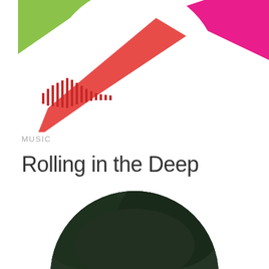[Figure (logo): Colorful abstract logo with green, pink/magenta, red and waveform/audio bars shapes arranged in a circular composition, partially cropped at top]
MUSIC
Rolling in the Deep
[Figure (photo): Circular cropped photo of a white horse standing in front of dark green foliage/trees, photo is partially visible at the bottom of the page]